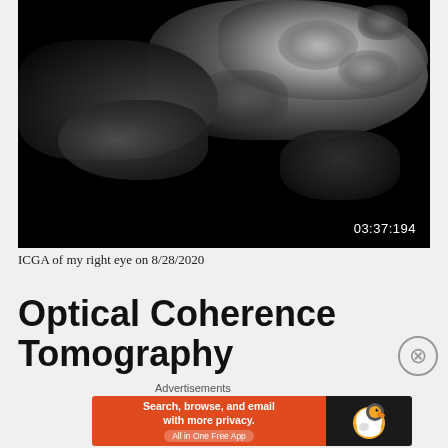[Figure (photo): Black and white ICGA (Indocyanine Green Angiography) scan of a right eye showing bright cloud-like regions against a dark background with timestamp 03:37:194 in lower right corner]
ICGA of my right eye on 8/28/2020
Optical Coherence Tomography
Advertisements
[Figure (other): DuckDuckGo advertisement banner: Search, browse, and email with more privacy. All in One Free App. DuckDuckGo logo on dark right panel.]